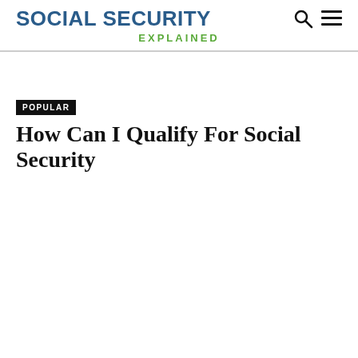SOCIAL SECURITY EXPLAINED
POPULAR
How Can I Qualify For Social Security